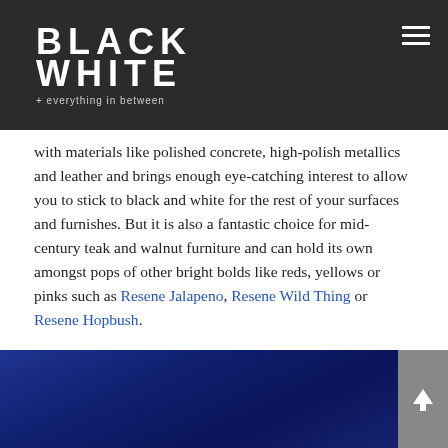BLACK WHITE + everything in between
with materials like polished concrete, high-polish metallics and leather and brings enough eye-catching interest to allow you to stick to black and white for the rest of your surfaces and furnishes. But it is also a fantastic choice for mid-century teak and walnut furniture and can hold its own amongst pops of other bright bolds like reds, yellows or pinks such as Resene Jalapeno, Resene Wild Thing or Resene Hopbush.
If you're still not convinced that an ultramarine blue wall won't bring your project to the next level, check out what StudioPritchard did with similarly toned Resene Space Cadet in their award-winning New Zealand Bus Office design.
[Figure (photo): Dark navy/ultramarine blue background image, partial view at bottom of page]